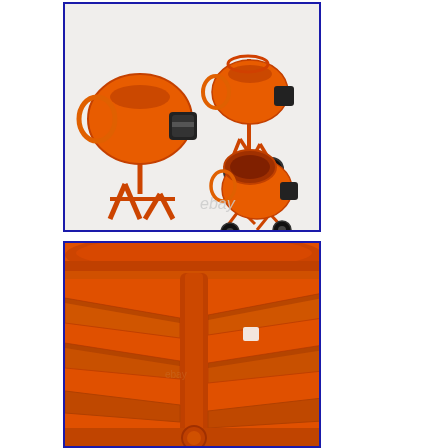[Figure (photo): Product photo of orange electric cement/concrete mixers shown from multiple angles — two full views and one close-up view. The mixers are orange with black motors, metal stands, and rubber wheels. An eBay watermark is visible in the lower center of the top image.]
[Figure (photo): Close-up macro photo of the orange cement mixer drum interior showing orange mixing paddles/blades attached to a central shaft, with the orange drum rim visible at the top.]